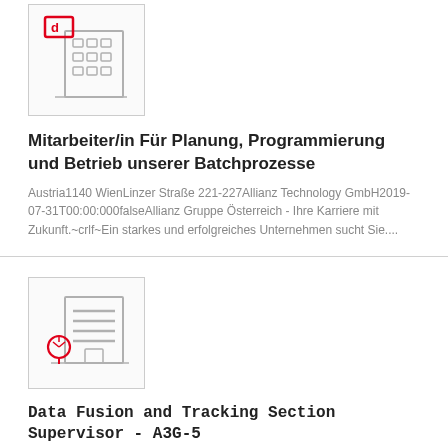[Figure (illustration): Building/office icon with red highlight element at top, grey line-art style]
Mitarbeiter/in Für Planung, Programmierung und Betrieb unserer Batchprozesse
Austria1140 WienLinzer Straße 221-227Allianz Technology GmbH2019-07-31T00:00:000falseAllianz Gruppe Österreich - Ihre Karriere mit Zukunft.~crlf~Ein starkes und erfolgreiches Unternehmen sucht Sie....
[Figure (illustration): Building/office icon with red tree/plant icon at bottom left, grey line-art style]
Data Fusion and Tracking Section Supervisor - A3G-5